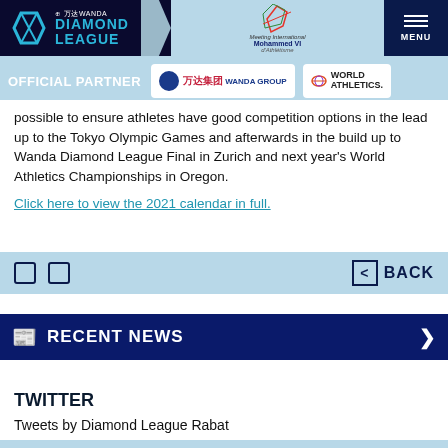Wanda Diamond League | Official Partner: Wanda Group, World Athletics | MENU
possible to ensure athletes have good competition options in the lead up to the Tokyo Olympic Games and afterwards in the build up to Wanda Diamond League Final in Zurich and next year's World Athletics Championships in Oregon.
Click here to view the 2021 calendar in full.
RECENT NEWS
TWITTER
Tweets by Diamond League Rabat